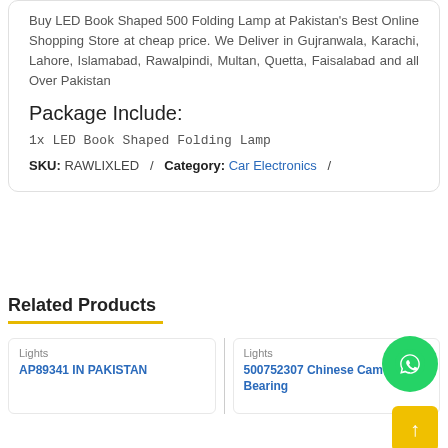Buy LED Book Shaped 500 Folding Lamp at Pakistan's Best Online Shopping Store at cheap price. We Deliver in Gujranwala, Karachi, Lahore, Islamabad, Rawalpindi, Multan, Quetta, Faisalabad and all Over Pakistan
Package Include:
1x LED Book Shaped Folding Lamp
SKU: RAWLIXLED / Category: Car Electronics /
Related Products
Lights
AP89341 IN PAKISTAN
Lights
500752307 Chinese Cam Bearing